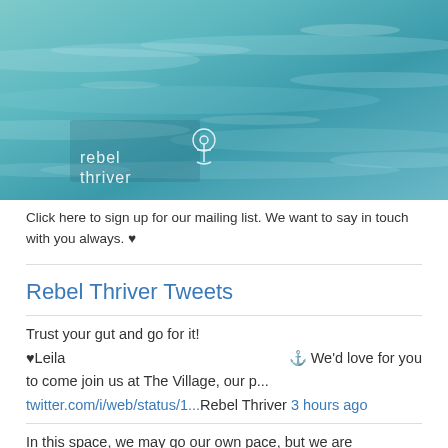[Figure (photo): Ocean water surface with teal/blue tones and 'rebel thriver' logo with anchor icon in bottom left]
Click here to sign up for our mailing list. We want to say in touch with you always. ♥
Rebel Thriver Tweets
Trust your gut and go for it!
♥Leila    ⚓ We'd love for you to come join us at The Village, our p...
twitter.com/i/web/status/1...Rebel Thriver 3 hours ago
In this space, we may go our own pace, but we are